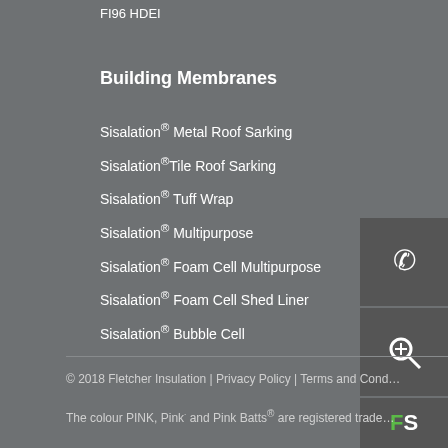FI96 HDEI
Building Membranes
Sisalation® Metal Roof Sarking
Sisalation® Tile Roof Sarking
Sisalation® Tuff Wrap
Sisalation® Multipurpose
Sisalation® Foam Cell Multipurpose
Sisalation® Foam Cell Shed Liner
Sisalation® Bubble Cell
© 2018 Fletcher Insulation | Privacy Policy | Terms and Cond…
The colour PINK, Pink® and Pink Batts® are registered trade… of …tion